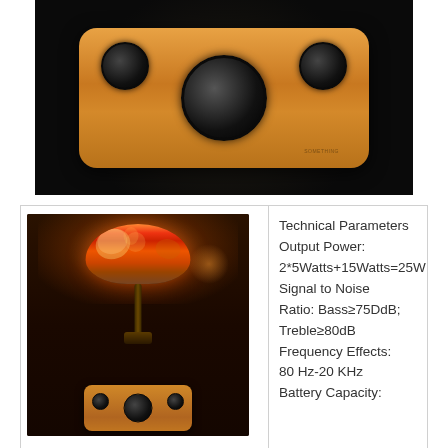[Figure (photo): Top-down photo of a wooden Bluetooth speaker with bamboo enclosure on a dark background. Three speaker drivers visible: one large central woofer and two smaller tweeters on each side.]
[Figure (photo): Photo of a decorative Tiffany-style lamp with colorful dragonfly shade in a warmly lit room, with the bamboo Bluetooth speaker visible in the foreground.]
Technical Parameters Output Power: 2*5Watts+15Watts=25Watts Signal to Noise Ratio: Bass≥75DdB; Treble≥80dB Frequency Effects: 80 Hz-20 KHz Battery Capacity: